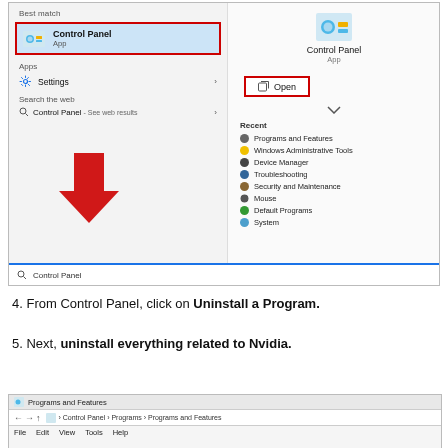[Figure (screenshot): Windows 10 Start Menu search showing Control Panel as best match with right panel showing Open button and recent items including Programs and Features, Windows Administrative Tools, Device Manager, Troubleshooting, Security and Maintenance, Mouse, Default Programs, System. Search bar at bottom shows 'Control Panel'.]
4. From Control Panel, click on Uninstall a Program.
5. Next, uninstall everything related to Nvidia.
[Figure (screenshot): Programs and Features window showing title bar, address bar with Control Panel > Programs > Programs and Features path, menu bar with File Edit View Tools Help, and Uninstall or change a program link.]